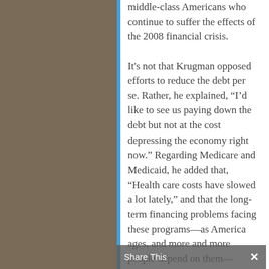middle-class Americans who continue to suffer the effects of the 2008 financial crisis. It's not that Krugman opposed efforts to reduce the debt per se. Rather, he explained, “I’d like to see us paying down the debt but not at the cost depressing the economy right now.” Regarding Medicare and Medicaid, he added that, “Health care costs have slowed a lot lately,” and that the long-term financing problems facing these programs—as America ages, and more and more people depend on them—might not appear as critical when the time comes to deal with them....
Share This ×